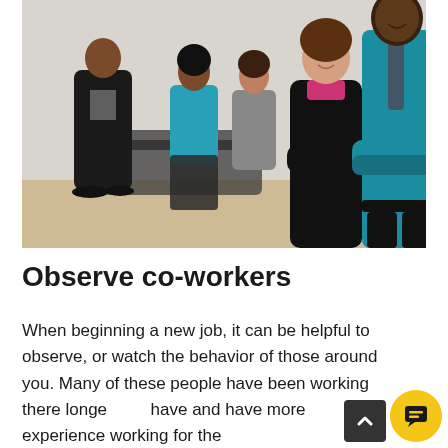[Figure (photo): Five business professionals in an office or lobby setting. In the foreground, a woman in a black blazer with pink collar stands with arms crossed, smiling at camera, beside a tall man in a teal/blue shirt with arms crossed. In the background, three people are conversing: a man in a dark suit, a woman in a blue top with a checkered skirt, and a woman in a grey outfit.]
Observe co-workers
When beginning a new job, it can be helpful to observe, or watch the behavior of those around you. Many of these people have been working there longer and have and have more experience working for the